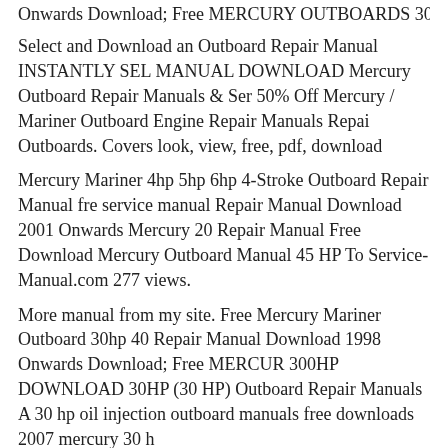Onwards Download; Free MERCURY OUTBOARDS 30HP 300H
Select and Download an Outboard Repair Manual INSTANTLY SEL MANUAL DOWNLOAD Mercury Outboard Repair Manuals & Ser 50% Off Mercury / Mariner Outboard Engine Repair Manuals Repai Outboards. Covers look, view, free, pdf, download
Mercury Mariner 4hp 5hp 6hp 4-Stroke Outboard Repair Manual fre service manual Repair Manual Download 2001 Onwards Mercury 20 Repair Manual Free Download Mercury Outboard Manual 45 HP To Service-Manual.com 277 views.
More manual from my site. Free Mercury Mariner Outboard 30hp 40 Repair Manual Download 1998 Onwards Download; Free MERCUR 300HP DOWNLOAD 30HP (30 HP) Outboard Repair Manuals A 30 hp oil injection outboard manuals free downloads 2007 mercury 30 h
More manual from my site. Free Mercury Mariner Outboard 30hp 40 Repair Manual Download 1998 Onwards Download; Free MERCUR 300HP 2006 Mercury Mariner Service Repair Manuals for factory, C